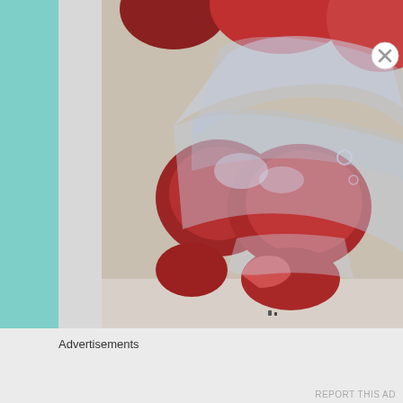[Figure (photo): Close-up photo of red tomatoes in a plastic bag, wet surface, on a white background]
Advertisements
REPORT THIS AD